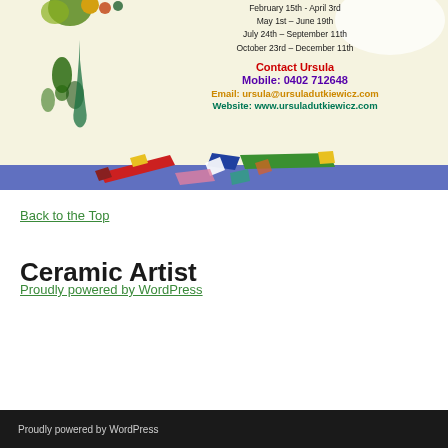[Figure (illustration): Decorative ceramic artist advertisement banner with dripping paint/glaze on the left side, contact information in center, and colorful geometric shapes at the bottom with a blue stripe. Includes date ranges, contact name Ursula, mobile number, email and website.]
February 15th - April 3rd
May 1st – June 19th
July 24th – September 11th
October 23rd – December 11th
Contact Ursula
Mobile: 0402 712648
Email: ursula@ursuladutkiewicz.com
Website: www.ursuladutkiewicz.com
Back to the Top
Ceramic Artist
Proudly powered by WordPress
Proudly powered by WordPress